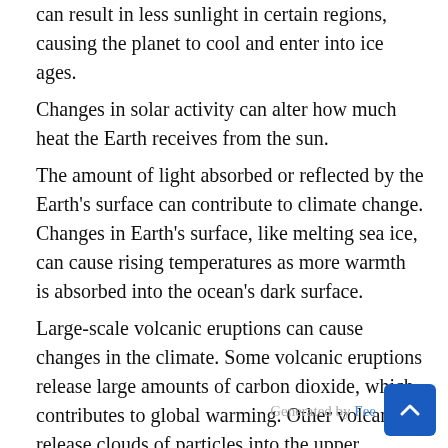can result in less sunlight in certain regions, causing the planet to cool and enter into ice ages.
Changes in solar activity can alter how much heat the Earth receives from the sun.
The amount of light absorbed or reflected by the Earth's surface can contribute to climate change. Changes in Earth's surface, like melting sea ice, can cause rising temperatures as more warmth is absorbed into the ocean's dark surface.
Large-scale volcanic eruptions can cause changes in the climate. Some volcanic eruptions release large amounts of carbon dioxide, which contributes to global warming. Other volcanoes release clouds of particles into the upper atmosphere, which can reflect
Generated by Fee